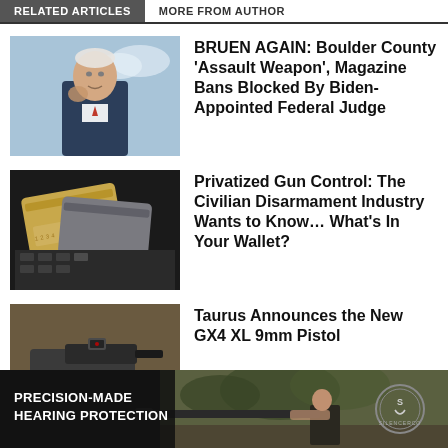RELATED ARTICLES | MORE FROM AUTHOR
[Figure (photo): Thumbnail photo of Joe Biden in suit, outdoor background]
BRUEN AGAIN: Boulder County 'Assault Weapon', Magazine Bans Blocked By Biden-Appointed Federal Judge
[Figure (photo): Thumbnail photo of credit cards on dark background]
Privatized Gun Control: The Civilian Disarmament Industry Wants to Know… What's In Your Wallet?
[Figure (photo): Thumbnail photo of Taurus GX4 XL 9mm pistol on wooden surface]
Taurus Announces the New GX4 XL 9mm Pistol
[Figure (photo): Advertisement banner: PRECISION-MADE HEARING PROTECTION with image of person shooting rifle with suppressor and a circular logo]